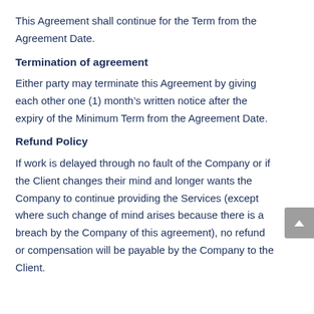This Agreement shall continue for the Term from the Agreement Date.
Termination of agreement
Either party may terminate this Agreement by giving each other one (1) month’s written notice after the expiry of the Minimum Term from the Agreement Date.
Refund Policy
If work is delayed through no fault of the Company or if the Client changes their mind and longer wants the Company to continue providing the Services (except where such change of mind arises because there is a breach by the Company of this agreement), no refund or compensation will be payable by the Company to the Client.